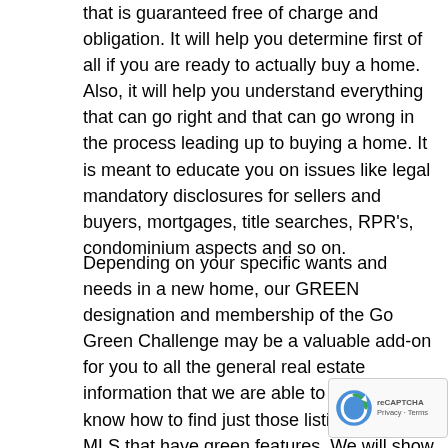that is guaranteed free of charge and obligation. It will help you determine first of all if you are ready to actually buy a home. Also, it will help you understand everything that can go right and that can go wrong in the process leading up to buying a home. It is meant to educate you on issues like legal mandatory disclosures for sellers and buyers, mortgages, title searches, RPR's, condominium aspects and so on.
Depending on your specific wants and needs in a new home, our GREEN designation and membership of the Go Green Challenge may be a valuable add-on for you to all the general real estate information that we are able to give you.We know how to find just those listings on the MLS that have green features. We will show you these green listings and advise you on whether or not these features will actually add value to the home and/or will result in lower energy bills. We will watch out for you, ensuring that a home owner is just “greenwashing” his home. Greenwashing means making inaccurate or false statements about what is a green